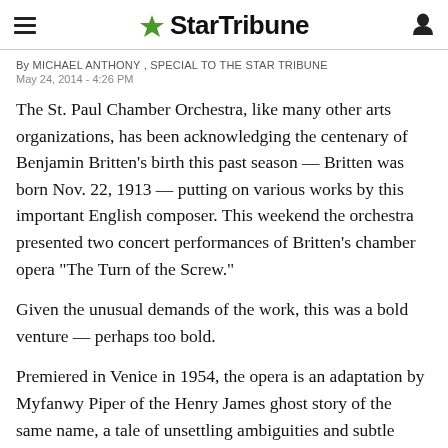StarTribune
By MICHAEL ANTHONY , SPECIAL TO THE STAR TRIBUNE
May 24, 2014 - 4:26 PM
The St. Paul Chamber Orchestra, like many other arts organizations, has been acknowledging the centenary of Benjamin Britten's birth this past season — Britten was born Nov. 22, 1913 — putting on various works by this important English composer. This weekend the orchestra presented two concert performances of Britten's chamber opera "The Turn of the Screw."
Given the unusual demands of the work, this was a bold venture — perhaps too bold.
Premiered in Venice in 1954, the opera is an adaptation by Myfanwy Piper of the Henry James ghost story of the same name, a tale of unsettling ambiguities and subtle sexual allusions concern attempts of the